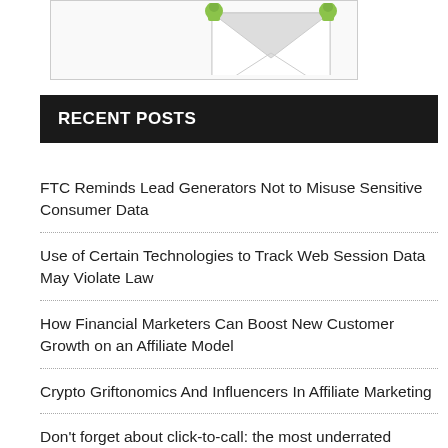[Figure (illustration): Partial view of an illustration showing a cartoon envelope with green cartoon characters/figures at the corners, on a white/light background with a border]
RECENT POSTS
FTC Reminds Lead Generators Not to Misuse Sensitive Consumer Data
Use of Certain Technologies to Track Web Session Data May Violate Law
How Financial Marketers Can Boost New Customer Growth on an Affiliate Model
Crypto Griftonomics And Influencers In Affiliate Marketing
Don't forget about click-to-call: the most underrated vertical for social media traffic